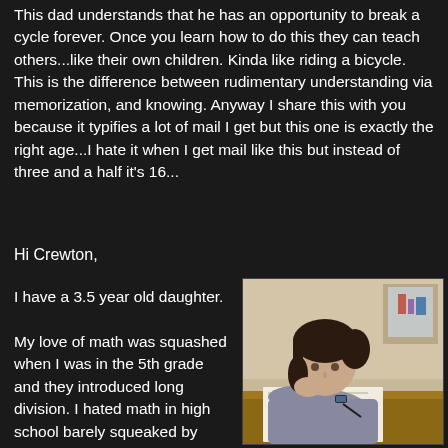This dad understands that he has an opportunity to break a cycle forever. Once you learn how to do this they can teach others...like their own children. Kinda like riding a bicycle. This is the difference between rudimentary understanding via memorization, and knowing. Anyway I share this with you because it typifies a lot of mail I get but this one is exactly the right age...I hate it when I get mail like this but instead of three and a half it's 16...
Hi Crewton,
I have a 3.5 year old daughter.

My love of math was squashed when I was in the 5th grade and they introduced long division. I hated math in high school barely squeaked by Algebra and Geometry. I never took Calc or Trig but satisfied
[Figure (photo): A teenage girl sitting at a desk, leaning on her hand, writing or studying on paper. She is wearing a grey sweatshirt and has dark hair pulled back. A watch is visible on her wrist. Background shows a room with furniture.]